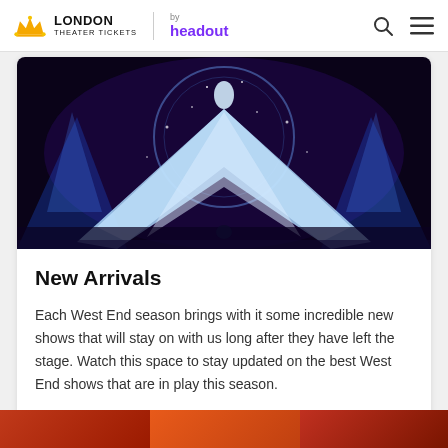LONDON THEATER TICKETS by headout
[Figure (photo): Stage performance photo showing a performer in a flowing blue ice gown/cape suspended above the stage with dramatic blue and purple lighting, resembling Frozen the musical]
New Arrivals
Each West End season brings with it some incredible new shows that will stay on with us long after they have left the stage. Watch this space to stay updated on the best West End shows that are in play this season.
New West End Shows >
[Figure (photo): Bottom strip showing partial theatre production images]